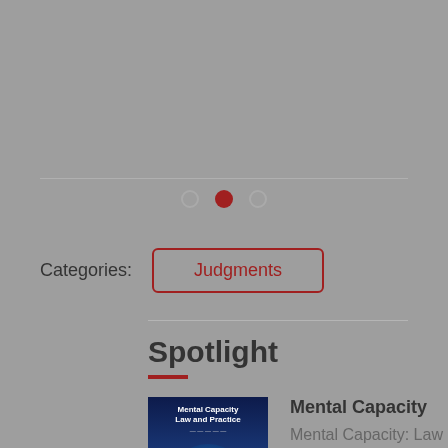[Figure (other): Pagination dots: one empty circle, one filled red circle, one empty circle]
Categories:
Judgments
Spotlight
[Figure (photo): Book cover for 'Mental Capacity: Law and Practice' showing a blue brain scan illustration on dark background]
Mental Capacity
Mental Capacity: Law and Practice
More info